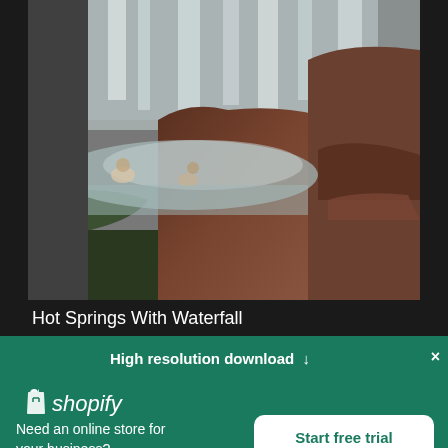[Figure (photo): Photo of people in hot springs with a large waterfall in the background, rocky terrain, misty atmosphere, dark moody tones]
Hot Springs With Waterfall
High resolution download ↓
[Figure (logo): Shopify logo - white shopping bag icon with 'shopify' text in white italic]
Need an online store for your business?
Start free trial